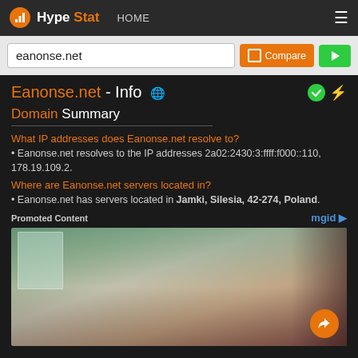HypeStat HOME
eanonse.net
Eanonse.net - Info
Domain Summary
What IP addresses does Eanonse.net resolve to?
Eanonse.net resolves to the IP addresses 2a02:2430:3:ffff:f000::110, 178.19.109.2.
Where are Eanonse.net servers located in?
Eanonse.net has servers located in Jamki, Silesia, 42-274, Poland.
Promoted Content
[Figure (photo): Promoted content advertisement image showing a person indoors]